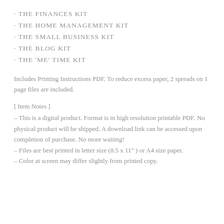· THE FINANCES KIT
· THE HOME MANAGEMENT KIT
· THE SMALL BUSINESS KIT
· THE BLOG KIT
· THE 'ME' TIME KIT
Includes Printing Instructions PDF. To reduce excess paper, 2 spreads on 1 page files are included.
[ Item Notes ]
– This is a digital product. Format is in high resolution printable PDF. No physical product will be shipped. A download link can be accessed upon completion of purchase. No more waiting!
– Files are best printed in letter size (8.5 x 11" ) or A4 size paper.
– Color at screen may differ slightly from printed copy.